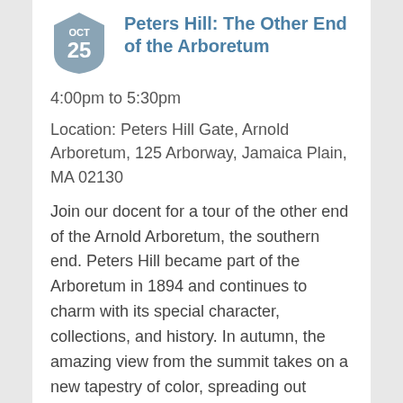[Figure (other): Shield/badge shape with 'OCT 25' text inside, colored in muted steel blue-gray]
Peters Hill: The Other End of the Arboretum
4:00pm to 5:30pm
Location: Peters Hill Gate, Arnold Arboretum, 125 Arborway, Jamaica Plain, MA 02130
Join our docent for a tour of the other end of the Arnold Arboretum, the southern end. Peters Hill became part of the Arboretum in 1894 and continues to charm with its special character, collections, and history. In autumn, the amazing view from the summit takes on a new tapestry of color, spreading out